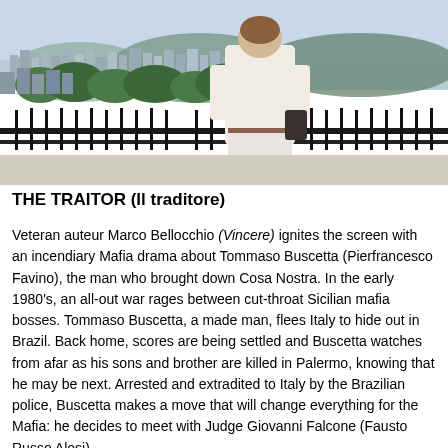[Figure (photo): Person in white blouse standing at a railing overlooking a cityscape with dense urban buildings and green hills in the background, taken from an elevated viewpoint.]
THE TRAITOR (Il traditore)
Veteran auteur Marco Bellocchio (Vincere) ignites the screen with an incendiary Mafia drama about Tommaso Buscetta (Pierfrancesco Favino), the man who brought down Cosa Nostra. In the early 1980's, an all-out war rages between cut-throat Sicilian mafia bosses. Tommaso Buscetta, a made man, flees Italy to hide out in Brazil. Back home, scores are being settled and Buscetta watches from afar as his sons and brother are killed in Palermo, knowing that he may be next. Arrested and extradited to Italy by the Brazilian police, Buscetta makes a move that will change everything for the Mafia: he decides to meet with Judge Giovanni Falcone (Fausto Russo Alesi) and to start an unprecedented cooperation. For a Man...